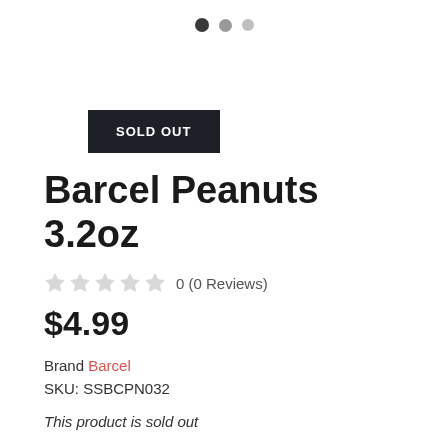[Figure (other): Three pagination dots: one dark, one medium gray, one light gray]
SOLD OUT
Barcel Peanuts 3.2oz
0 (0 Reviews)
$4.99
Brand Barcel
SKU: SSBCPN032
This product is sold out
NOTIFY ME